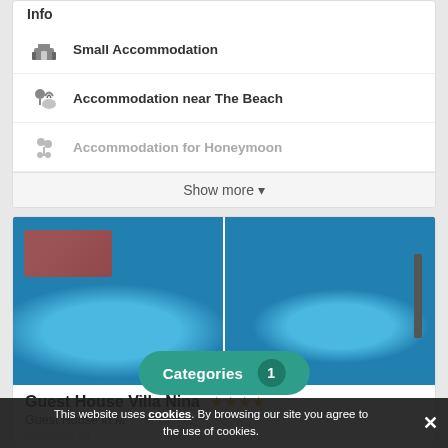Info
Small Accommodation
Accommodation near The Beach
Accommodation for Honeymoon
Show more ▾
[Figure (photo): Two photos of Guest House Villa Nina showing outdoor pool area with orange umbrellas, lounge chairs, greenery, and a blue oval swimming pool from aerial view (left), and another view of the pool area with a tree and orange umbrellas (right).]
Guest House Villa Nina ★★★★
Guest House in M...
Categories 1
Available on...
This website uses cookies. By browsing our site you agree to the use of cookies.